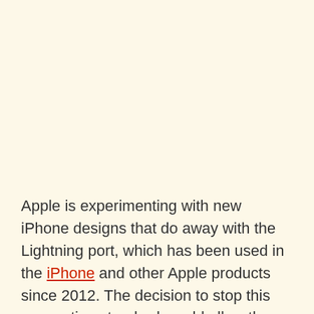[Figure (other): Large blank cream/beige area occupying the top portion of the page]
Apple is experimenting with new iPhone designs that do away with the Lightning port, which has been used in the iPhone and other Apple products since 2012. The decision to stop this connection standard would allow the corporation to homogenise its product catalogue while also